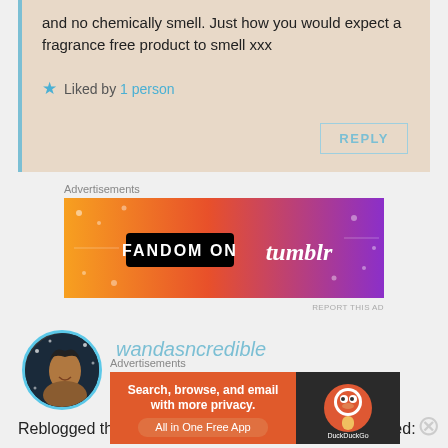and no chemically smell. Just how you would expect a fragrance free product to smell xxx
Liked by 1 person
Advertisements
[Figure (other): Fandom on Tumblr advertisement banner with orange and purple gradient background and white illustrated doodles]
wandasncredible
JANUARY 18, 2017 AT 5:11 PM
Reblogged this on Wanda D. Jefferson and commented:
Advertisements
[Figure (other): DuckDuckGo advertisement: Search, browse, and email with more privacy. All in One Free App]